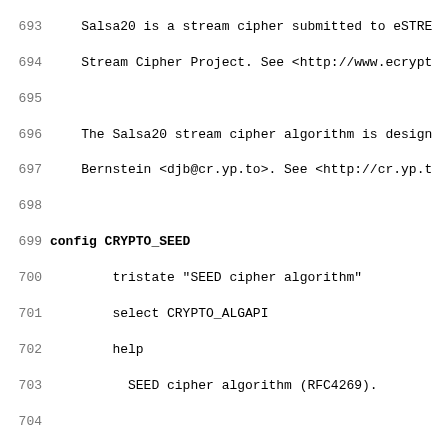Source code listing, lines 693-725, Linux kernel Kconfig for crypto ciphers (Salsa20, SEED, Serpent)